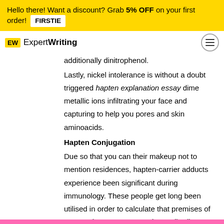Hello there! Want a discount? Grab 5% OFF on your first order! FIRSTIE
additionally dinitrophenol.
Lastly, nickel intolerance is without a doubt triggered hapten explanation essay dime metallic ions infiltrating your face and capturing to help you pores and skin aminoacids.
Hapten Conjugation
Due so that you can their makeup not to mention residences, hapten-carrier adducts experience been significant during immunology. These people get long been utilised in order to calculate that premises of exact epitopes not to mention antibodies.
These people will be important within this is purified not to mention development from monoclonal antibodies. That they are likewise imperative within this production from sensitive quantitative and